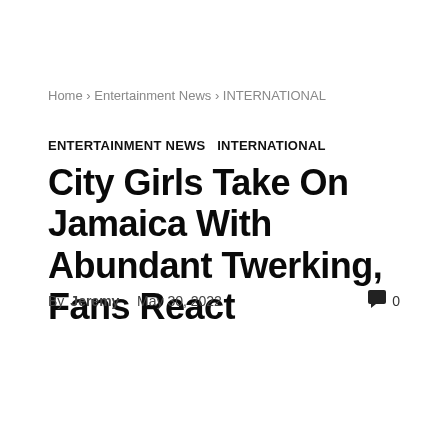Home › Entertainment News › INTERNATIONAL
ENTERTAINMENT NEWS  INTERNATIONAL
City Girls Take On Jamaica With Abundant Twerking, Fans React
By Jeremy   May 30, 2022   💬 0